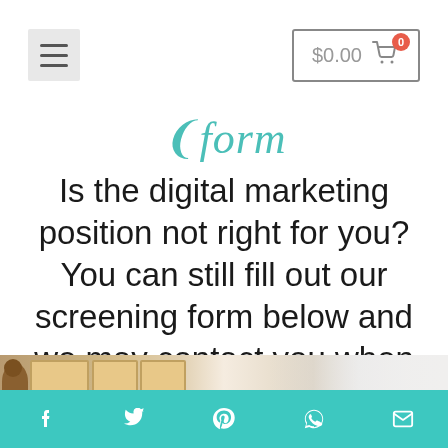$0.00 cart
Form
Is the digital marketing position not right for you? You can still fill out our screening form below and we may contact you when we have another open position!
[Figure (photo): Photo of a wooden shelving unit with a cat visible on the left, blurred background]
Social share icons: Facebook, Twitter, Pinterest, WhatsApp, Email